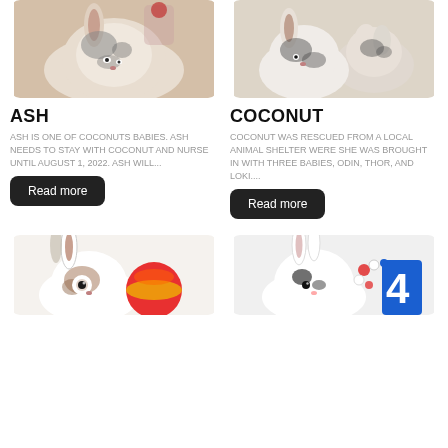[Figure (photo): A black and white spotted rabbit sitting on a surface with flowers in background]
[Figure (photo): A group of black and white spotted rabbits (Coconut with babies) on a surface]
ASH
COCONUT
ASH IS ONE OF COCONUTS BABIES. ASH NEEDS TO STAY WITH COCONUT AND NURSE UNTIL AUGUST 1, 2022. ASH WILL...
COCONUT WAS RESCUED FROM A LOCAL ANIMAL SHELTER WERE SHE WAS BROUGHT IN WITH THREE BABIES, ODIN, THOR, AND LOKI....
Read more
Read more
[Figure (photo): A brown and white rabbit with a colorful ball toy on white background]
[Figure (photo): A white rabbit with black spots near patriotic decorations with number 4]